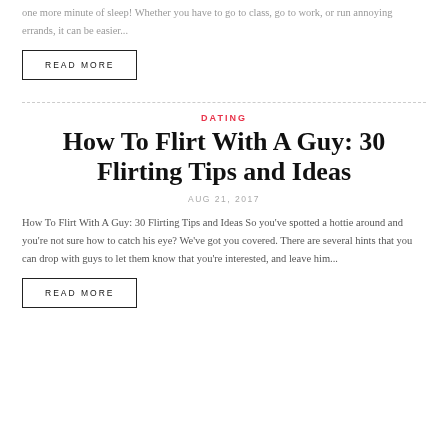one more minute of sleep! Whether you have to go to class, go to work, or run annoying errands, it can be easier...
READ MORE
DATING
How To Flirt With A Guy: 30 Flirting Tips and Ideas
AUG 21, 2017
How To Flirt With A Guy: 30 Flirting Tips and Ideas So you've spotted a hottie around and you're not sure how to catch his eye? We've got you covered. There are several hints that you can drop with guys to let them know that you're interested, and leave him...
READ MORE